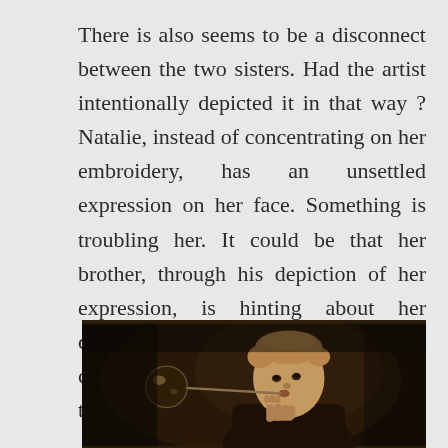There is also seems to be a disconnect between the two sisters. Had the artist intentionally depicted it in that way ? Natalie, instead of concentrating on her embroidery, has an unsettled expression on her face. Something is troubling her. It could be that her brother, through his depiction of her expression, is hinting about her depressive illness which would soon confine her to a mental institution for the rest of her life.
[Figure (photo): A dark sepia-toned painting of a young boy blowing bubbles through a straw/pipe, holding it up to his mouth. The background is very dark brown/black. The boy has short light hair and is depicted in a classical painting style.]